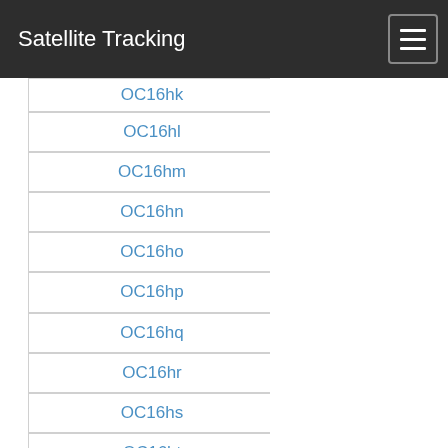Satellite Tracking
OC16hk
OC16hl
OC16hm
OC16hn
OC16ho
OC16hp
OC16hq
OC16hr
OC16hs
OC16ht
OC16hu
OC16hv
OC16hw
OC16hx
OC16ia
OC16ib
OC16ic
OC16id